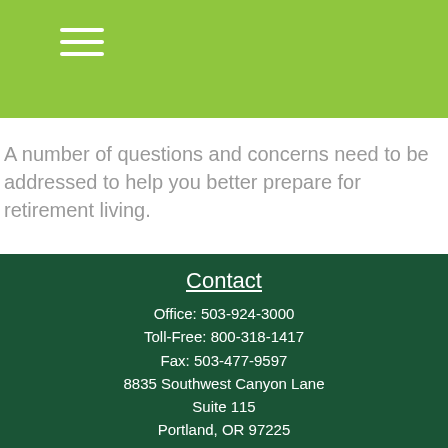A number of questions and concerns need to be addressed to help you better prepare for retirement living.
Contact
Office: 503-924-3000
Toll-Free: 800-318-1417
Fax: 503-477-9597
8835 Southwest Canyon Lane
Suite 115
Portland, OR 97225
FINRA Series 7 Securities Rep, FINRA Series 24 Securities Principal, FINRA Series 63 & 65 State Exams, FINRA Series 5 & 7, Oregon Ins. Div Life and Health, Health Insurance Marketplace & SHOP
sbrown@wisdirect.com